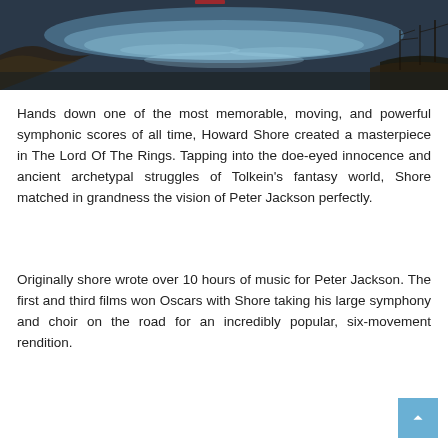[Figure (photo): Photograph of a river or stream scene with water reflecting sky, rocky banks, and bare winter vegetation in the background. Dark tones at edges with lighter blue-grey water in the center.]
Hands down one of the most memorable, moving, and powerful symphonic scores of all time, Howard Shore created a masterpiece in The Lord Of The Rings. Tapping into the doe-eyed innocence and ancient archetypal struggles of Tolkein's fantasy world, Shore matched in grandness the vision of Peter Jackson perfectly.
Originally shore wrote over 10 hours of music for Peter Jackson. The first and third films won Oscars with Shore taking his large symphony and choir on the road for an incredibly popular, six-movement rendition.